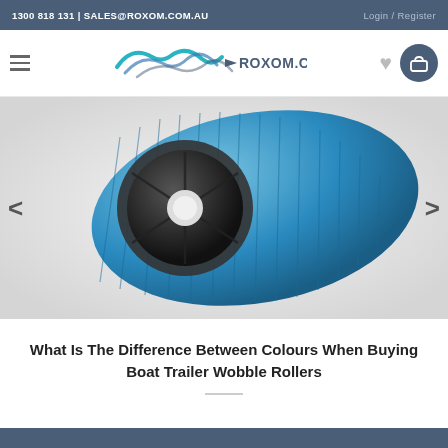1300 818 131 | SALES@ROXOM.COM.AU   Login / Register
[Figure (logo): Roxom.com.au logo with stylized wave/bird graphic in teal and grey]
[Figure (photo): Close-up photo of boat trailer wobble rollers — a blue ridged cylindrical roller on the left showing its black hub, and a tri-colour roller (red, silver, blue) on the right]
What Is The Difference Between Colours When Buying Boat Trailer Wobble Rollers